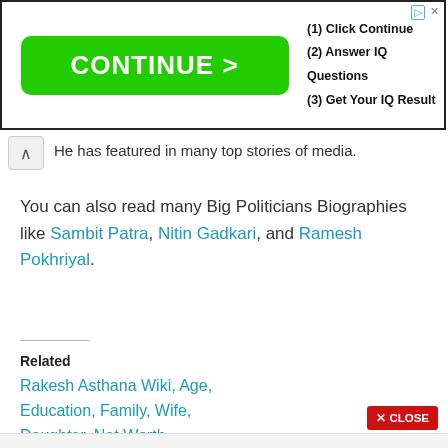[Figure (screenshot): Advertisement banner with green CONTINUE > button and text: (1) Click Continue, (2) Answer IQ Questions, (3) Get Your IQ Result]
He has featured in many top stories of media.
You can also read many Big Politicians Biographies like Sambit Patra, Nitin Gadkari, and Ramesh Pokhriyal.
Related
Rakesh Asthana Wiki, Age, Education, Family, Wife, Daughter, Net Worth, Biography & More
[Figure (photo): Two product images at bottom: fiber optic cables with yellow wires on left, orange luggage tag on right, and a D logo on far right]